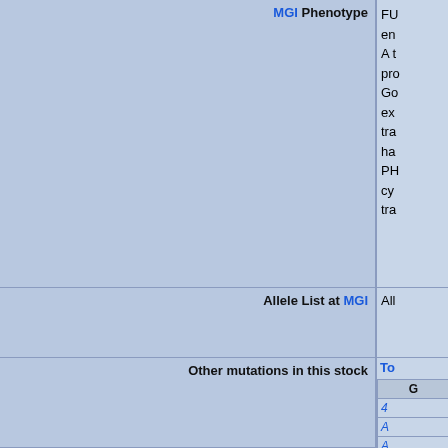| Field | Value |
| --- | --- |
| MGI Phenotype | FU... en... A t... pro... Go... ex... tra... ha... PH... cy... tra... |
| Allele List at MGI | All... |
| Other mutations in this stock | To... G... 4... A... A... A... |